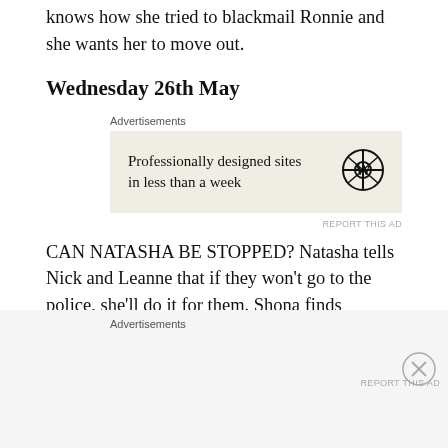knows how she tried to blackmail Ronnie and she wants her to move out.
Wednesday 26th May
[Figure (other): Advertisement banner: 'Professionally designed sites in less than a week' with WordPress logo on beige background]
CAN NATASHA BE STOPPED? Natasha tells Nick and Leanne that if they won't go to the police, she'll do it for them. Shona finds Natasha in the police station waiting room and begs her to reconsider, pointing out that by involving the police, she'll be putting Sam in even more
Advertisements